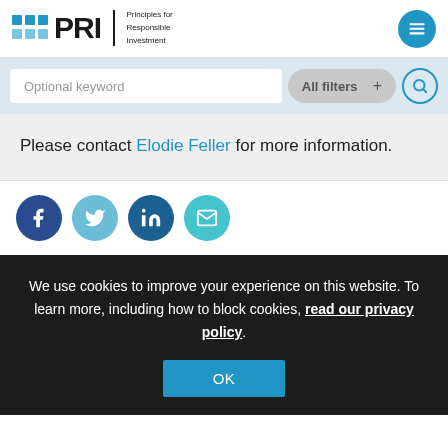[Figure (logo): PRI - Principles for Responsible Investment logo with blue grid icon]
Optional keyword
All filters +
Please contact Elodie Feller for more information.
[Figure (illustration): Social sharing icons: Facebook, Twitter, LinkedIn, Email]
We use cookies to improve your experience on this website. To learn more, including how to block cookies, read our privacy policy.
OK